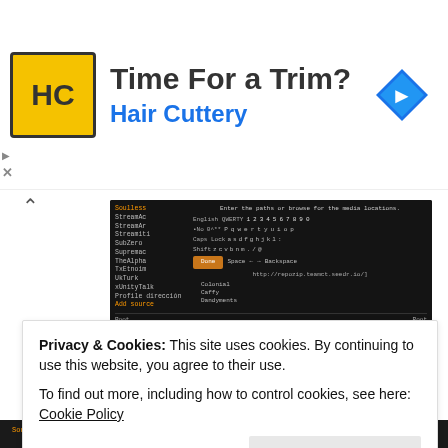[Figure (screenshot): Advertisement banner for Hair Cuttery with logo, tagline 'Time For a Trim?' and navigation icon]
[Figure (screenshot): Dark-themed Kodi media player interface showing file browser with on-screen keyboard, file paths, and source entries including Colonial, Caffy, Dandyments]
• We need to give a name to the repository so...
Privacy & Cookies: This site uses cookies. By continuing to use this website, you agree to their use.
To find out more, including how to control cookies, see here: Cookie Policy
[Figure (screenshot): Partial bottom screenshot of Kodi interface showing Soulless and xMatrix entries]